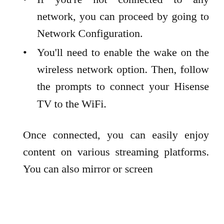If you're not connected to any network, you can proceed by going to Network Configuration.
You'll need to enable the wake on the wireless network option. Then, follow the prompts to connect your Hisense TV to the WiFi.
Once connected, you can easily enjoy content on various streaming platforms. You can also mirror or screen